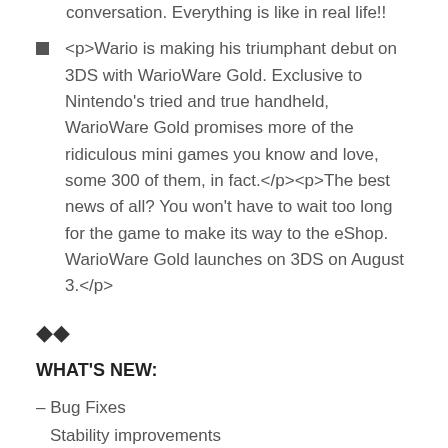conversation. Everything is like in real life!!
<p>Wario is making his triumphant debut on 3DS with WarioWare Gold. Exclusive to Nintendo's tried and true handheld, WarioWare Gold promises more of the ridiculous mini games you know and love, some 300 of them, in fact.</p><p>The best news of all? You won't have to wait too long for the game to make its way to the eShop. WarioWare Gold launches on 3DS on August 3.</p>
◆◆
WHAT'S NEW:
– Bug Fixes
Stability improvements